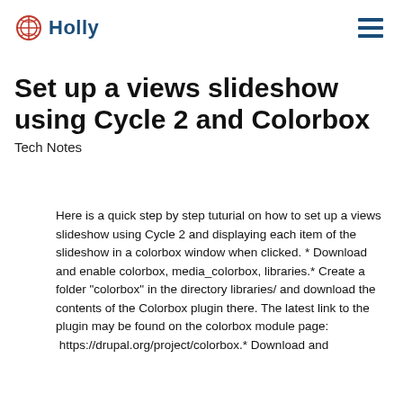Holly
Set up a views slideshow using Cycle 2 and Colorbox
Tech Notes
Here is a quick step by step tuturial on how to set up a views slideshow using Cycle 2 and displaying each item of the slideshow in a colorbox window when clicked. * Download and enable colorbox, media_colorbox, libraries.* Create a folder "colorbox" in the directory libraries/ and download the contents of the Colorbox plugin there. The latest link to the plugin may be found on the colorbox module page: https://drupal.org/project/colorbox.* Download and